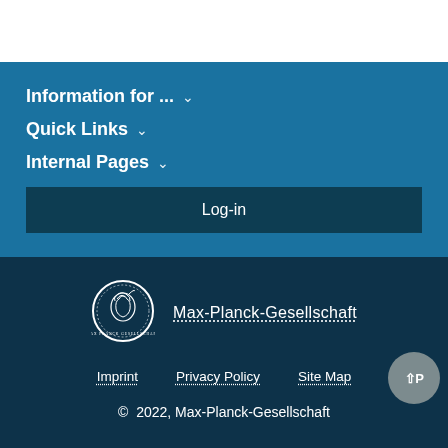Information for ... ∨
Quick Links ∨
Internal Pages ∨
Log-in
[Figure (logo): Max-Planck-Gesellschaft circular coin/seal logo with Minerva profile]
Max-Planck-Gesellschaft
Imprint
Privacy Policy
Site Map
© 2022, Max-Planck-Gesellschaft